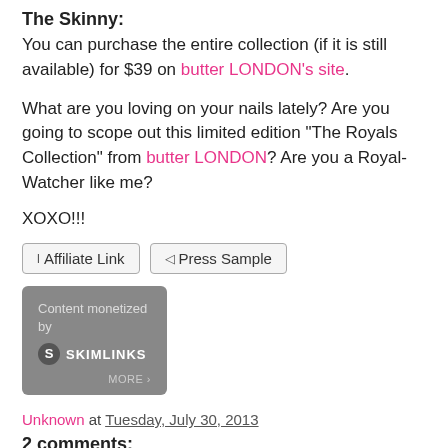The Skinny:
You can purchase the entire collection (if it is still available) for $39 on butter LONDON's site.
What are you loving on your nails lately? Are you going to scope out this limited edition "The Royals Collection" from butter LONDON? Are you a Royal-Watcher like me?
XOXO!!!
Affiliate Link   Press Sample
[Figure (logo): Skimlinks content monetization badge - grey box with 'Content monetized by SKIMLINKS MORE >' text and logo]
Unknown at Tuesday, July 30, 2013
2 comments: